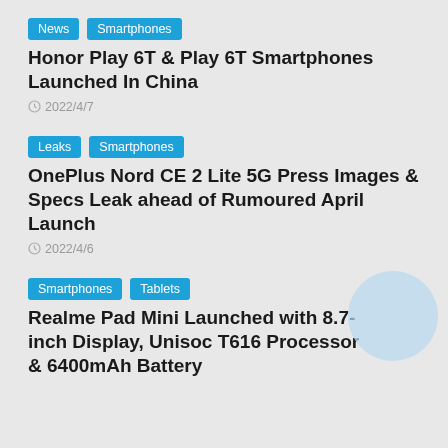News | Smartphones
Honor Play 6T & Play 6T Smartphones Launched In China
2022/4/7
Leaks | Smartphones
OnePlus Nord CE 2 Lite 5G Press Images & Specs Leak ahead of Rumoured April Launch
2022/4/6
Smartphones | Tablets
Realme Pad Mini Launched with 8.7-inch Display, Unisoc T616 Processor & 6400mAh Battery